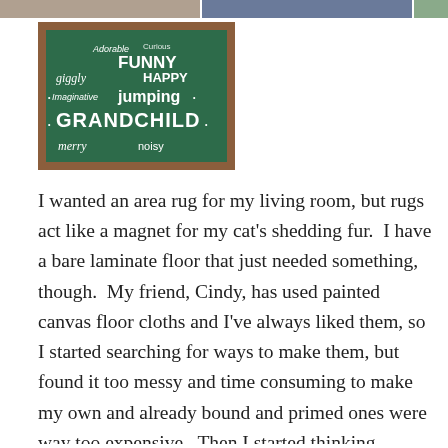[Figure (photo): Partial photo strip at the top of the page showing blurry indoor photos]
[Figure (photo): Photo of a dark green word-art sign with words related to grandchildren including 'Adorable', 'Curious', 'FUNNY', 'giggly', 'HAPPY', 'Imaginative', 'jumping', 'GRANDCHILD', 'merry', 'noisy' in various sizes and fonts on a green background with a wooden frame]
I wanted an area rug for my living room, but rugs act like a magnet for my cat's shedding fur.  I have a bare laminate floor that just needed something, though.  My friend, Cindy, has used painted canvas floor cloths and I've always liked them, so I started searching for ways to make them, but found it too messy and time consuming to make my own and already bound and primed ones were way too expensive.  Then I started thinking, maybe I could paint a bamboo slat rug with Annie Sloan…..yep!  I could. I decided to get creative and make a Subway Art type rug about….you guessed it!  Grandchildren –  and use my